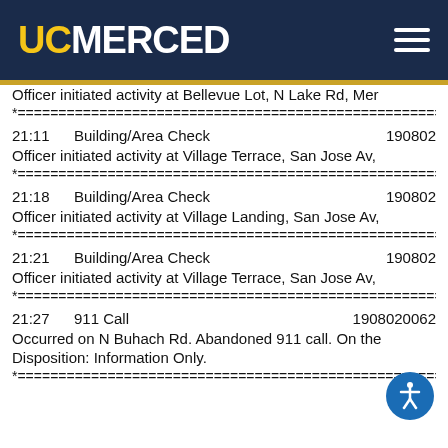UC MERCED
Officer initiated activity at Bellevue Lot, N Lake Rd, Mer
*============================================================
21:11   Building/Area Check   190802
Officer initiated activity at Village Terrace, San Jose Av,
*============================================================
21:18   Building/Area Check   190802
Officer initiated activity at Village Landing, San Jose Av,
*============================================================
21:21   Building/Area Check   190802
Officer initiated activity at Village Terrace, San Jose Av,
*============================================================
21:27   911 Call   1908020062
Occurred on N Buhach Rd. Abandoned 911 call. On the
Disposition: Information Only.
*============================================================